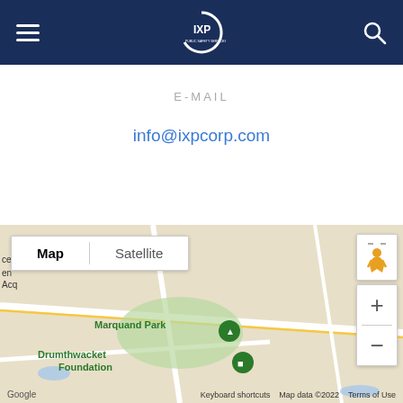[Figure (screenshot): IXP Corporation website header with dark navy blue background, hamburger menu icon on left, IXP logo in center (circular logo with IXP text and tagline), and search icon on right]
E-MAIL
info@ixpcorp.com
[Figure (map): Google Maps screenshot showing Princeton University area with Map/Satellite toggle, Marquand Park, Drumthwacket Foundation, Art Museum, Frist Campus labels, street view person icon, zoom controls, and Google attribution with Keyboard shortcuts, Map data ©2022, Terms of Use]